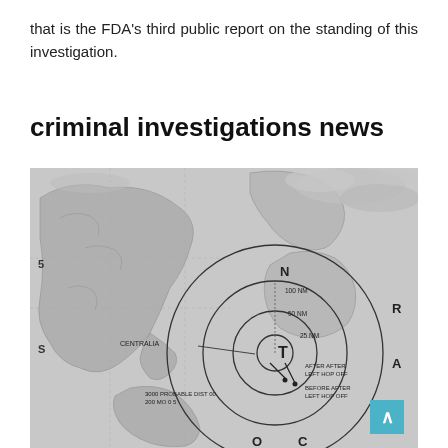that is the FDA's third public report on the standing of this investigation.
criminal investigations news
[Figure (map): A grayscale world/regional map with concentric circles drawn over a central point (likely a hurricane or nuclear event tracking diagram). Letters N, R, A, C, O, T are marked around the circles. Various labeled lines and annotations indicate distances or ranges from the central point.]